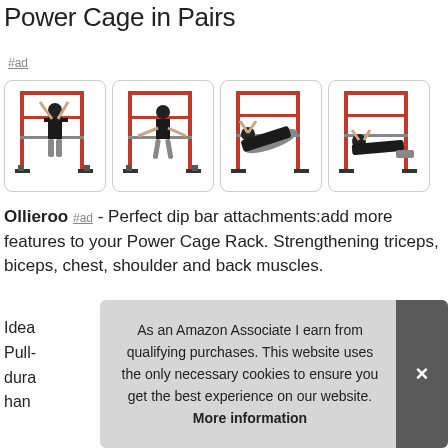Power Cage in Pairs
#ad
[Figure (photo): Four product images showing a red power cage/rack with a man performing various exercises: pull-up, dip, incline row, and body row.]
Ollieroo #ad - Perfect dip bar attachments:add more features to your Power Cage Rack. Strengthening triceps, biceps, chest, shoulder and back muscles.
Idea Pull- dura han
As an Amazon Associate I earn from qualifying purchases. This website uses the only necessary cookies to ensure you get the best experience on our website. More information